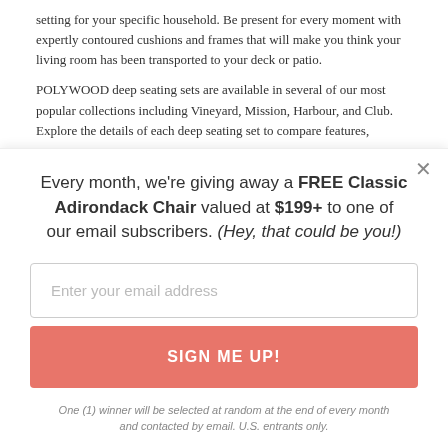setting for your specific household. Be present for every moment with expertly contoured cushions and frames that will make you think your living room has been transported to your deck or patio.
POLYWOOD deep seating sets are available in several of our most popular collections including Vineyard, Mission, Harbour, and Club. Explore the details of each deep seating set to compare features,
Every month, we're giving away a FREE Classic Adirondack Chair valued at $199+ to one of our email subscribers. (Hey, that could be you!)
Enter your email address
SIGN ME UP!
One (1) winner will be selected at random at the end of every month and contacted by email. U.S. entrants only.